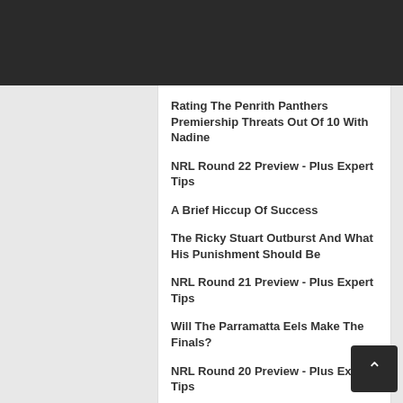Navigation Menu
Rating The Penrith Panthers Premiership Threats Out Of 10 With Nadine
NRL Round 22 Preview - Plus Expert Tips
A Brief Hiccup Of Success
The Ricky Stuart Outburst And What His Punishment Should Be
NRL Round 21 Preview - Plus Expert Tips
Will The Parramatta Eels Make The Finals?
NRL Round 20 Preview - Plus Expert Tips